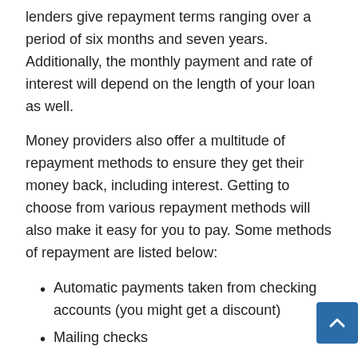lenders give repayment terms ranging over a period of six months and seven years. Additionally, the monthly payment and rate of interest will depend on the length of your loan as well.
Money providers also offer a multitude of repayment methods to ensure they get their money back, including interest. Getting to choose from various repayment methods will also make it easy for you to pay. Some methods of repayment are listed below:
Automatic payments taken from checking accounts (you might get a discount)
Mailing checks
Online payments with banking details
Rate of Interest and Types
The rate of interest is dependent on multiple factors, including loan amounts, credit score, and the time you require to repa... Rates of interest can range from 3.49% to 29.99% or more